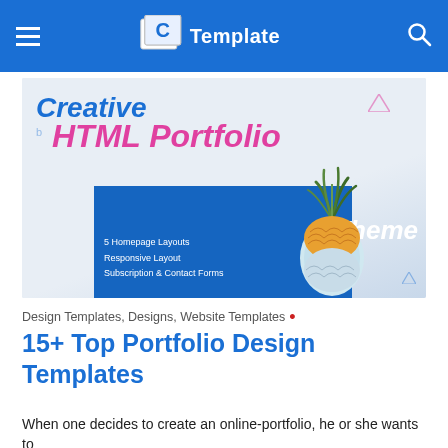Template
[Figure (screenshot): A promotional banner for a Creative HTML Portfolio Theme showing text 'Creative HTML Portfolio Theme' with a pineapple graphic and features list: 5 Homepage Layouts, Responsive Layout, Subscription & Contact Forms]
Design Templates, Designs, Website Templates
15+ Top Portfolio Design Templates
When one decides to create an online-portfolio, he or she wants to